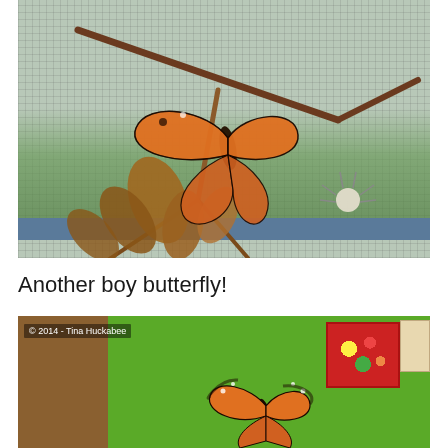[Figure (photo): Close-up photo of a monarch butterfly hanging upside down from dry plant stems/branches against a window screen background with greenery visible outside. A spider is visible on the right side.]
Another boy butterfly!
[Figure (photo): Photo of a monarch butterfly inside a room with bright green walls. A brown wooden cabinet is visible on the left, colorful artwork is hung on the wall. Copyright watermark reads '© 2014 - Tina Huckabee'. The butterfly is flying in the lower center of the frame.]